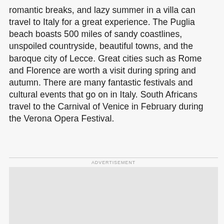romantic breaks, and lazy summer in a villa can travel to Italy for a great experience. The Puglia beach boasts 500 miles of sandy coastlines, unspoiled countryside, beautiful towns, and the baroque city of Lecce. Great cities such as Rome and Florence are worth a visit during spring and autumn. There are many fantastic festivals and cultural events that go on in Italy. South Africans travel to the Carnival of Venice in February during the Verona Opera Festival.
ADVERTISEMENT
[Figure (other): Advertisement placeholder box (grey rectangle)]